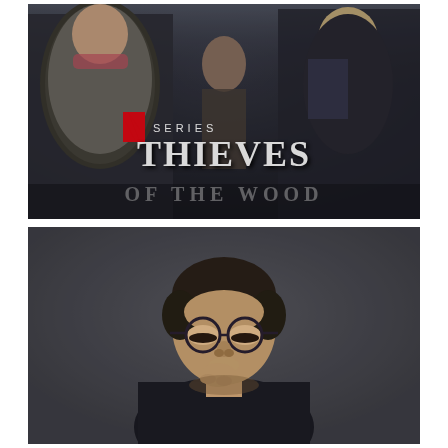[Figure (photo): Netflix series promotional poster for 'Thieves of the Wood' showing three medieval-dressed characters in dark, gritty costumes standing in a forest. The Netflix logo (red N) appears with the text 'SERIES' above the large title text 'THIEVES OF THE WOOD' in distressed white lettering.]
[Figure (photo): Portrait photo of a middle-aged man with short dark hair and round-framed glasses, wearing a dark jacket, looking downward with his hand near his chin. Background is dark gray.]